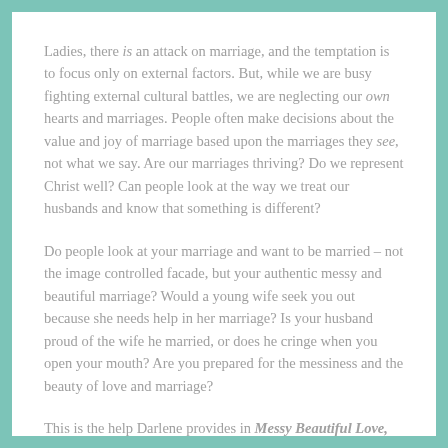Ladies, there is an attack on marriage, and the temptation is to focus only on external factors. But, while we are busy fighting external cultural battles, we are neglecting our own hearts and marriages. People often make decisions about the value and joy of marriage based upon the marriages they see, not what we say. Are our marriages thriving? Do we represent Christ well? Can people look at the way we treat our husbands and know that something is different?
Do people look at your marriage and want to be married – not the image controlled facade, but your authentic messy and beautiful marriage? Would a young wife seek you out because she needs help in her marriage? Is your husband proud of the wife he married, or does he cringe when you open your mouth? Are you prepared for the messiness and the beauty of love and marriage?
This is the help Darlene provides in Messy Beautiful Love,